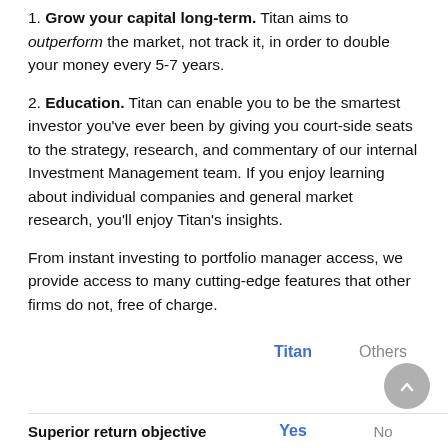1. Grow your capital long-term. Titan aims to outperform the market, not track it, in order to double your money every 5-7 years.
2. Education. Titan can enable you to be the smartest investor you've ever been by giving you court-side seats to the strategy, research, and commentary of our internal Investment Management team. If you enjoy learning about individual companies and general market research, you'll enjoy Titan's insights.
From instant investing to portfolio manager access, we provide access to many cutting-edge features that other firms do not, free of charge.
|  | Titan | Others |
| --- | --- | --- |
| Superior return objective | Yes | No |